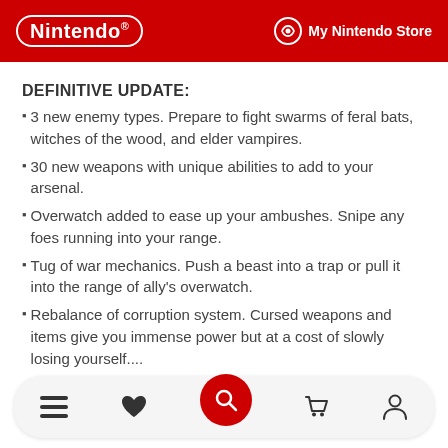Nintendo | My Nintendo Store
DEFINITIVE UPDATE:
3 new enemy types. Prepare to fight swarms of feral bats, witches of the wood, and elder vampires.
30 new weapons with unique abilities to add to your arsenal.
Overwatch added to ease up your ambushes. Snipe any foes running into your range.
Tug of war mechanics. Push a beast into a trap or pull it into the range of ally's overwatch.
Rebalance of corruption system. Cursed weapons and items give you immense power but at a cost of slowly losing yourself....
[Figure (other): Bottom navigation bar with menu, heart/wishlist, search (red circle), cart, and account icons]